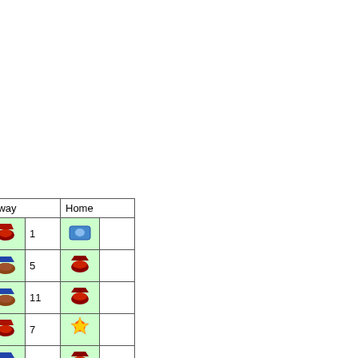| Date | Score | Icon | Num |
| --- | --- | --- | --- |
| 7/3/2019 | -7 |  | 0 |
| 7/6/2019 | -7 |  | 13 |
| 7/11/2019 | -3 |  | 10 |
| 7/13/2019 | 2 |  | 1 |
| 7/16/2019 | 3 |  | 4 |
| 7/20/2019 | -2 |  | 5 |
| 7/20/2019 | -1 |  | 3 |
| 8/1/2019 | 8 |  | 3 |
| Date Entered | Score | Away | Home |
| --- | --- | --- | --- |
| 5/31/2019 | 0 |  | 1 |  |  |
| 6/1/2019 | 0 |  | 5 |  |  |
| 6/2/2019 | 2 |  | 11 |  |  |
| 6/5/2019 | 0 |  | 7 |  |  |
| 6/11/2019 | 2 |  | 3 |  |  |
| 6/15/2019 | 0 |  | 2 |  |  |
| 6/18/2019 | 0 |  | 2 |  |  |
| 6/??/2019 | ? |  | ? |  |  |